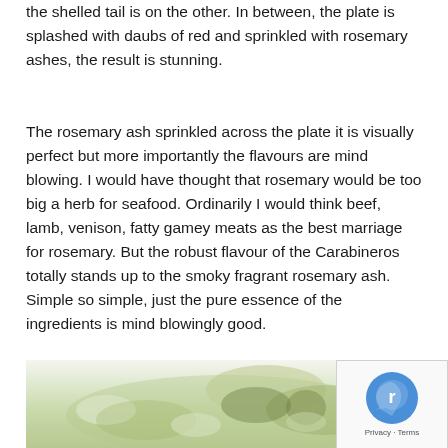the shelled tail is on the other. In between, the plate is splashed with daubs of red and sprinkled with rosemary ashes, the result is stunning.
The rosemary ash sprinkled across the plate it is visually perfect but more importantly the flavours are mind blowing. I would have thought that rosemary would be too big a herb for seafood. Ordinarily I would think beef, lamb, venison, fatty gamey meats as the best marriage for rosemary. But the robust flavour of the Carabineros totally stands up to the smoky fragrant rosemary ash. Simple so simple, just the pure essence of the ingredients is mind blowingly good.
[Figure (photo): A food photograph showing a dish with green sauce or broth, vegetables and seafood ingredients, partially visible at the bottom of the page. A reCAPTCHA badge appears in the bottom-right corner with Privacy and Terms text.]